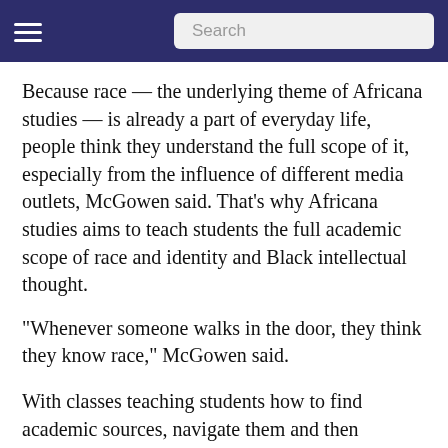Search
Because race — the underlying theme of Africana studies — is already a part of everyday life, people think they understand the full scope of it, especially from the influence of different media outlets, McGowen said. That's why Africana studies aims to teach students the full academic scope of race and identity and Black intellectual thought.
“Whenever someone walks in the door, they think they know race,” McGowen said.
With classes teaching students how to find academic sources, navigate them and then critiquing them will allow Africana studies students to possess the skills that come along with studying such an interdisciplinary, critical and relevant field, McGowen said.